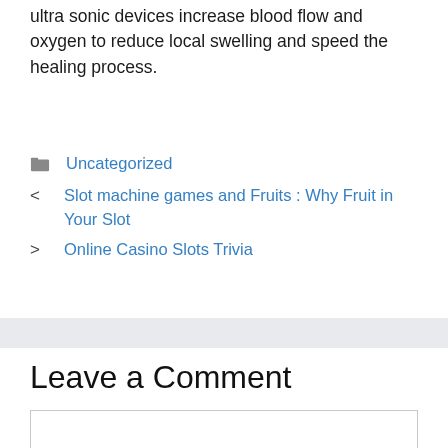ultra sonic devices increase blood flow and oxygen to reduce local swelling and speed the healing process.
Uncategorized
< Slot machine games and Fruits : Why Fruit in Your Slot
> Online Casino Slots Trivia
Leave a Comment